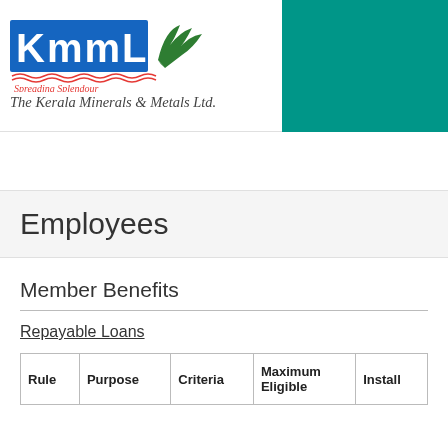[Figure (logo): KMML logo with tagline 'Spreading Splendour' and teal decorative block on the right]
The Kerala Minerals & Metals Ltd.
Employees
Member Benefits
Repayable Loans
| Rule | Purpose | Criteria | Maximum Eligible | Install |
| --- | --- | --- | --- | --- |